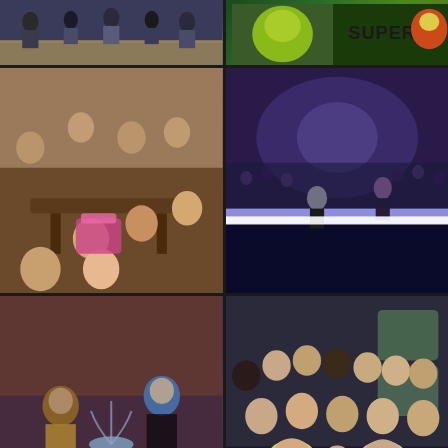[Figure (photo): Top-left: People standing in a line, appears to be a bowling alley or gymnasium with hardwood floors]
[Figure (photo): Top-right: Colorful mascot/character with 'SUPER' text visible, appears to be a Super Smash Bros or similar gaming/sports event]
[Figure (photo): Middle-left: Group of people gathered around tables in a restaurant setting, smiling at camera]
[Figure (photo): Middle-right: Concert performance on stage with purple/blue lighting, performer in dark outfit on illuminated stage with crowd in background]
[Figure (photo): Bottom-left: Blurry performers in colorful costumes near a decorative fountain, appears to be a show or theatrical performance]
[Figure (photo): Bottom-right: Large group selfie taken inside a bus, many smiling faces, woman with glasses and blonde hair prominent in foreground. Orange scroll-up button visible in bottom-right corner]